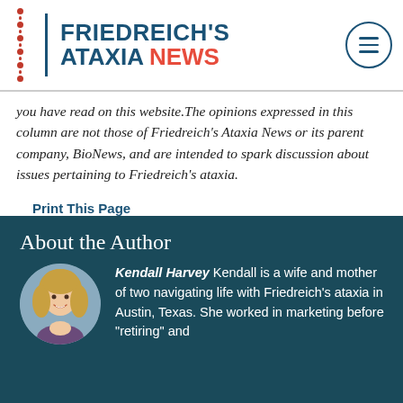FRIEDREICH'S ATAXIA NEWS
you have read on this website.The opinions expressed in this column are not those of Friedreich's Ataxia News or its parent company, BioNews, and are intended to spark discussion about issues pertaining to Friedreich's ataxia.
Print This Page
About the Author
[Figure (photo): Circular portrait photo of Kendall Harvey, a blonde woman smiling]
Kendall Harvey Kendall is a wife and mother of two navigating life with Friedreich's ataxia in Austin, Texas. She worked in marketing before "retiring" and